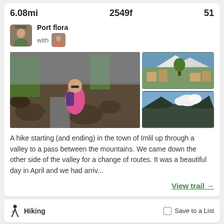6.08mi   2549f   51
Port flora
with
[Figure (photo): Three outdoor hiking photos: main large photo of a woman in pink shirt with backpack standing among rocks near a stream with green trees; top right photo of a mountain village with buildings; bottom right photo of rocky mountains with clouds.]
A hike starting (and ending) in the town of Imlil up through a valley to a pass between the mountains. We came down the other side of the valley for a change of routes. It was a beautiful day in April and we had arriv...
View trail →
Hiking
Save to a List